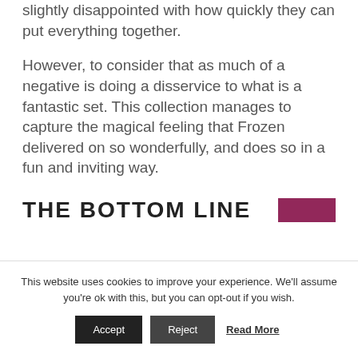slightly disappointed with how quickly they can put everything together.
However, to consider that as much of a negative is doing a disservice to what is a fantastic set. This collection manages to capture the magical feeling that Frozen delivered on so wonderfully, and does so in a fun and inviting way.
THE BOTTOM LINE
This website uses cookies to improve your experience. We'll assume you're ok with this, but you can opt-out if you wish.